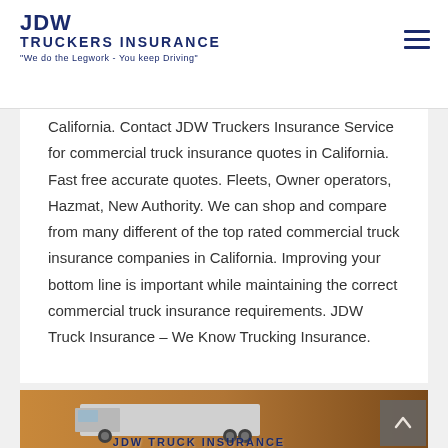JDW TRUCKERS INSURANCE "We do the Legwork - You keep Driving"
California. Contact JDW Truckers Insurance Service for commercial truck insurance quotes in California. Fast free accurate quotes. Fleets, Owner operators, Hazmat, New Authority. We can shop and compare from many different of the top rated commercial truck insurance companies in California. Improving your bottom line is important while maintaining the correct commercial truck insurance requirements. JDW Truck Insurance – We Know Trucking Insurance.
[Figure (photo): Photo of a commercial truck (semi-truck/trailer) with an orange/amber warm background. Text overlay at the bottom reads 'JDW TRUCK INSURANCE' in bold navy letters.]